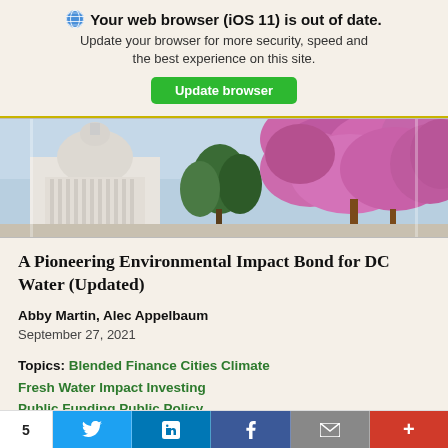Your web browser (iOS 11) is out of date. Update your browser for more security, speed and the best experience on this site. Update browser
[Figure (photo): US Capitol building on the left with blooming pink/purple cherry blossom trees on the right against a light blue sky]
A Pioneering Environmental Impact Bond for DC Water (Updated)
Abby Martin, Alec Appelbaum
September 27, 2021
Topics: Blended Finance   Cities   Climate   Fresh Water   Impact Investing   Public Funding   Public Policy
5  [Twitter]  [LinkedIn]  [Facebook]  [Email]  [More]